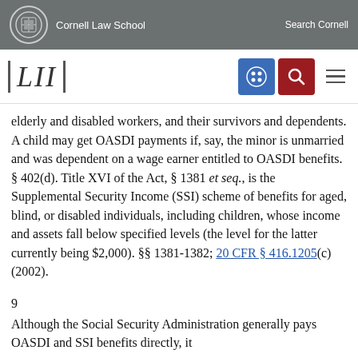Cornell Law School   Search Cornell
[Figure (logo): LII Legal Information Institute logo with navigation icons]
elderly and disabled workers, and their survivors and dependents. A child may get OASDI payments if, say, the minor is unmarried and was dependent on a wage earner entitled to OASDI benefits. § 402(d). Title XVI of the Act, § 1381 et seq., is the Supplemental Security Income (SSI) scheme of benefits for aged, blind, or disabled individuals, including children, whose income and assets fall below specified levels (the level for the latter currently being $2,000). §§ 1381-1382; 20 CFR § 416.1205(c) (2002).
9
Although the Social Security Administration generally pays OASDI and SSI benefits directly, it